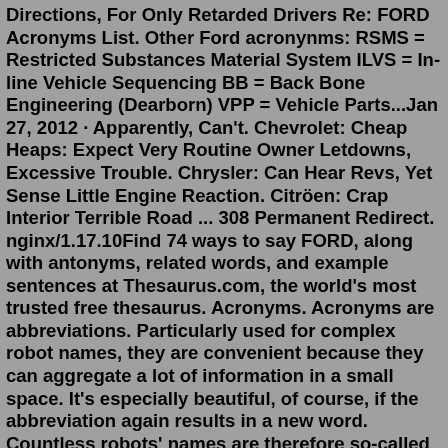Directions, For Only Retarded Drivers Re: FORD Acronyms List. Other Ford acronynms: RSMS = Restricted Substances Material System ILVS = In-line Vehicle Sequencing BB = Back Bone Engineering (Dearborn) VPP = Vehicle Parts...Jan 27, 2012 · Apparently, Can't. Chevrolet: Cheap Heaps: Expect Very Routine Owner Letdowns, Excessive Trouble. Chrysler: Can Hear Revs, Yet Sense Little Engine Reaction. Citröen: Crap Interior Terrible Road ... 308 Permanent Redirect. nginx/1.17.10Find 74 ways to say FORD, along with antonyms, related words, and example sentences at Thesaurus.com, the world's most trusted free thesaurus. Acronyms. Acronyms are abbreviations. Particularly used for complex robot names, they are convenient because they can aggregate a lot of information in a small space. It's especially beautiful, of course, if the abbreviation again results in a new word. Countless robots' names are therefore so-called apronyms, where the abbreviation forms a new ...FORD - Fix or repair daily. FIAT - Fix it again Tony. LOTUS - Lots of